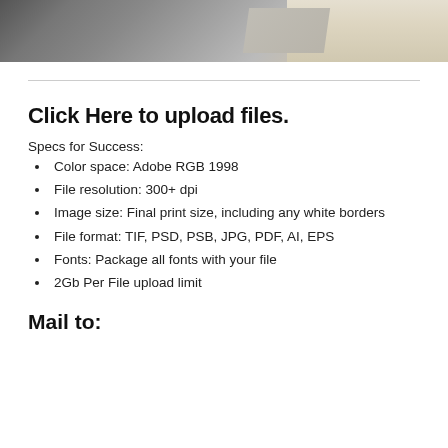[Figure (photo): Partial photo at top of page showing dark and light surfaces, cropped at bottom]
Click Here to upload files.
Specs for Success:
Color space: Adobe RGB 1998
File resolution: 300+ dpi
Image size: Final print size, including any white borders
File format: TIF, PSD, PSB, JPG, PDF, AI, EPS
Fonts: Package all fonts with your file
2Gb Per File upload limit
Mail to: